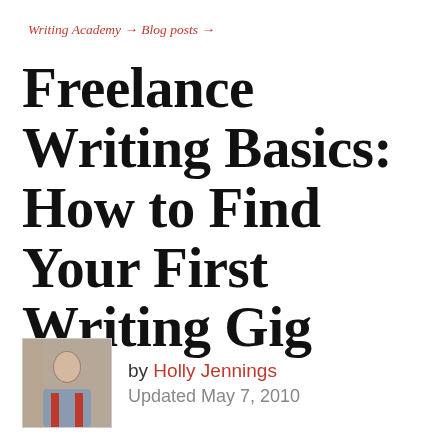Writing Academy → Blog posts →
Freelance Writing Basics: How to Find Your First Writing Gig
by Holly Jennings Updated May 7, 2010